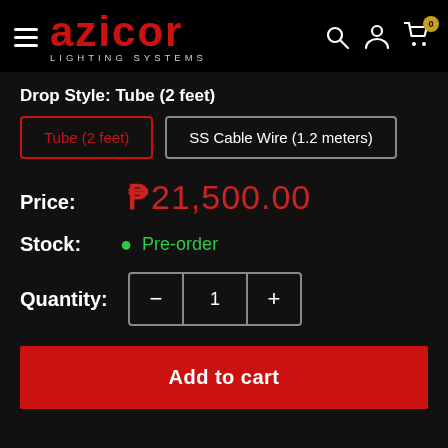AZICOR LIGHTING SYSTEMS — navigation header
Drop Style: Tube (2 feet)
Tube (2 feet) | SS Cable Wire (1.2 meters)
Price: ₱21,500.00
Stock: Pre-order
Quantity: 1
Add to cart